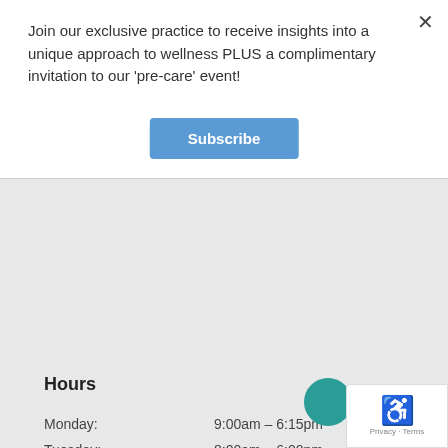Join our exclusive practice to receive insights into a unique approach to wellness PLUS a complimentary invitation to our 'pre-care' event!
Subscribe
Hours
| Day | Hours |
| --- | --- |
| Monday: | 9:00am – 6:15pm |
| Tuesday: | 8:00am – 6:00pm |
| Wednesday: | 8:00am – 6:15pm |
| Thursday: | 8:00am – 6:15pm |
| Friday: | 8:00am – 6:00pm |
| Saturday: | 8:00am – 12:00pm |